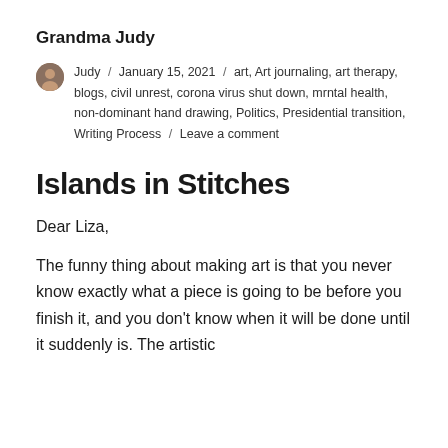Grandma Judy
Judy / January 15, 2021 / art, Art journaling, art therapy, blogs, civil unrest, corona virus shut down, mrntal health, non-dominant hand drawing, Politics, Presidential transition, Writing Process / Leave a comment
Islands in Stitches
Dear Liza,
The funny thing about making art is that you never know exactly what a piece is going to be before you finish it, and you don’t know when it will be done until it suddenly is. The artistic